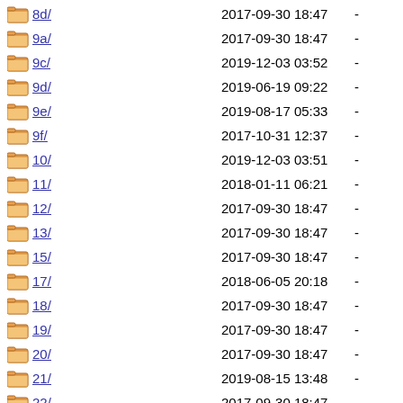8d/   2017-09-30 18:47   -
9a/   2017-09-30 18:47   -
9c/   2019-12-03 03:52   -
9d/   2019-06-19 09:22   -
9e/   2019-08-17 05:33   -
9f/   2017-10-31 12:37   -
10/   2019-12-03 03:51   -
11/   2018-01-11 06:21   -
12/   2017-09-30 18:47   -
13/   2017-09-30 18:47   -
15/   2017-09-30 18:47   -
17/   2018-06-05 20:18   -
18/   2017-09-30 18:47   -
19/   2017-09-30 18:47   -
20/   2017-09-30 18:47   -
21/   2019-08-15 13:48   -
22/   2017-09-30 18:47   -
23/   2017-09-30 18:47   -